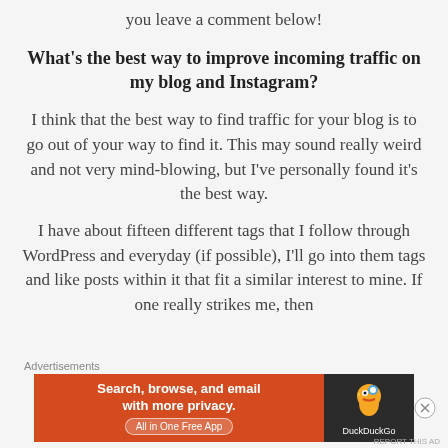you leave a comment below!
What’s the best way to improve incoming traffic on my blog and Instagram?
I think that the best way to find traffic for your blog is to go out of your way to find it. This may sound really weird and not very mind-blowing, but I’ve personally found it’s the best way.
I have about fifteen different tags that I follow through WordPress and everyday (if possible), I’ll go into them tags and like posts within it that fit a similar interest to mine. If one really strikes me, then
Advertisements
[Figure (other): DuckDuckGo advertisement banner: Search, browse, and email with more privacy. All in One Free App. DuckDuckGo logo on dark background.]